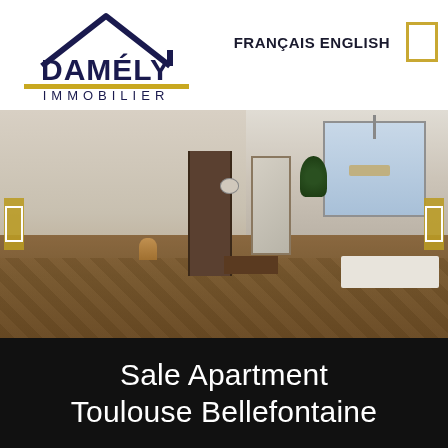[Figure (logo): Damély Immobilier logo with roof outline above company name]
FRANÇAIS  ENGLISH
[Figure (photo): Interior photo of a spacious apartment living room with wood parquet flooring, white walls, a sofa, pendant light, wall clock, mirror, and large windows]
Sale Apartment Toulouse Bellefontaine